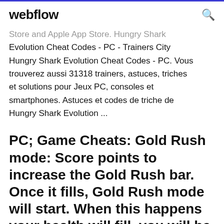webflow
Store and Apple App Store. Hungry Shark Evolution Cheat Codes - PC - Trainers City Hungry Shark Evolution Cheat Codes - PC. Vous trouverez aussi 31318 trainers, astuces, triches et solutions pour Jeux PC, consoles et smartphones. Astuces et codes de triche de Hungry Shark Evolution ...
PC; Game Cheats: Gold Rush mode: Score points to increase the Gold Rush bar. Once it fills, Gold Rush mode will start. When this happens your health will fill, you will be invincible, and many